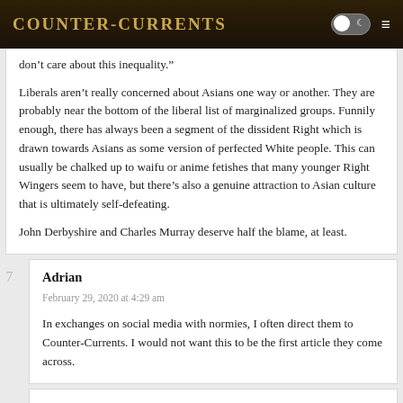Counter-Currents
don’t care about this inequality.”

Liberals aren’t really concerned about Asians one way or another. They are probably near the bottom of the liberal list of marginalized groups. Funnily enough, there has always been a segment of the dissident Right which is drawn towards Asians as some version of perfected White people. This can usually be chalked up to waifu or anime fetishes that many younger Right Wingers seem to have, but there’s also a genuine attraction to Asian culture that is ultimately self-defeating.

John Derbyshire and Charles Murray deserve half the blame, at least.
7
Adrian
February 29, 2020 at 4:29 am

In exchanges on social media with normies, I often direct them to Counter-Currents. I would not want this to be the first article they come across.